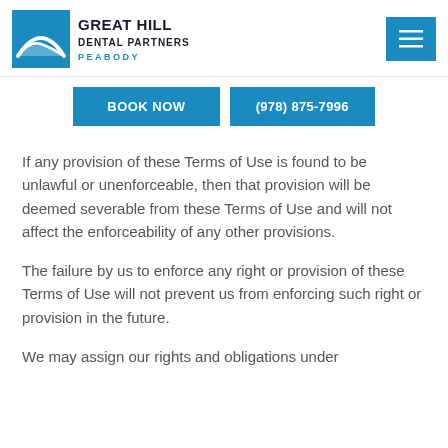GREAT HILL DENTAL PARTNERS PEABODY
BOOK NOW
(978) 875-7996
If any provision of these Terms of Use is found to be unlawful or unenforceable, then that provision will be deemed severable from these Terms of Use and will not affect the enforceability of any other provisions.
The failure by us to enforce any right or provision of these Terms of Use will not prevent us from enforcing such right or provision in the future.
We may assign our rights and obligations under